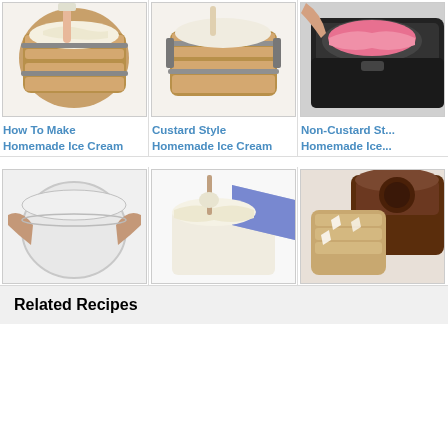[Figure (photo): Photo of hands working with a wooden ice cream maker bucket with cream inside]
How To Make Homemade Ice Cream
[Figure (photo): Photo of a wooden ice cream maker bucket with custard mixture]
Custard Style Homemade Ice Cream
[Figure (photo): Photo of a dark/black ice cream maker with pink ice cream]
Non-Custard Style Homemade Ice...
[Figure (photo): Photo of hands holding a white round ice cream container]
Homemade Ice Cream Freezing Methods
[Figure (photo): Photo of ice cream being scooped from a rectangular container with blue lid]
Safety And Storage Of Homemade Ice Cream
[Figure (photo): Photo of an ice cream maker with wooden bucket filled with ice]
Tips On Making Homemade Ice...
Related Recipes